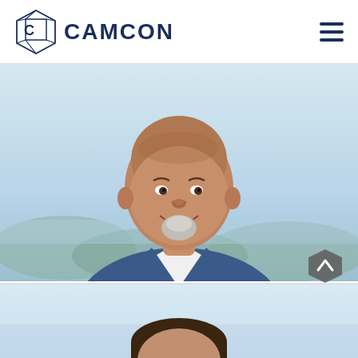CAMCON
[Figure (photo): Professional headshot of a bald man with a gray goatee, smiling, wearing a white dress shirt and navy blue blazer, with a blurred outdoor background showing trees and sky.]
[Figure (photo): Partial view of another person's head (dark hair) visible at the bottom of the page, appearing to be a second team member photo cropped at the top.]